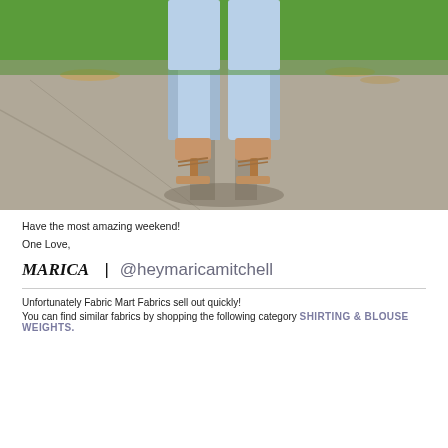[Figure (photo): Lower body photo of a person wearing light blue skinny jeans and tan/nude heeled mule sandals, standing on a sidewalk/driveway with grass visible in the background.]
Have the most amazing weekend!
One Love,
MARICA | @heymaricamitchell
Unfortunately Fabric Mart Fabrics sell out quickly!
You can find similar fabrics by shopping the following category SHIRTING & BLOUSE WEIGHTS.